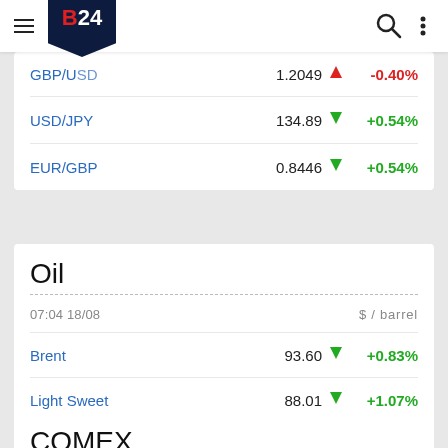B24 navigation bar
| Pair | Price |  | Change |
| --- | --- | --- | --- |
| GBP/USD | 1.2049 | ▼ | -0.40% |
| USD/JPY | 134.89 | ▲ | +0.54% |
| EUR/GBP | 0.8446 | ▲ | +0.54% |
Oil
07:04 18/08    $ / barrel
| Commodity | Price |  | Change |
| --- | --- | --- | --- |
| Brent | 93.60 | ▲ | +0.83% |
| Light Sweet | 88.01 | ▲ | +1.07% |
COMEX